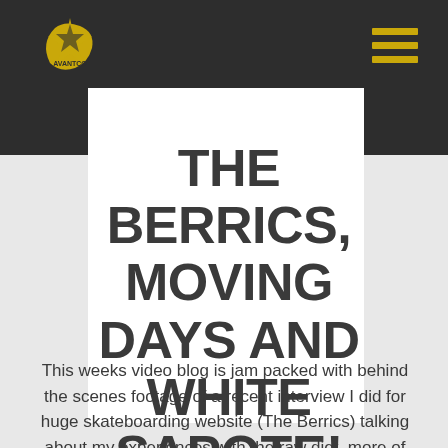[Figure (logo): Banana/star shaped logo with text, yellow on dark background]
THE BERRICS, MOVING DAYS AND WHITE SAPOTE!
This weeks video blog is jam packed with behind the scenes footage of a recent interview I did for huge skateboarding website (The Berrics) talking about my experiences with the raw diet, more of Jack's cuteness, a